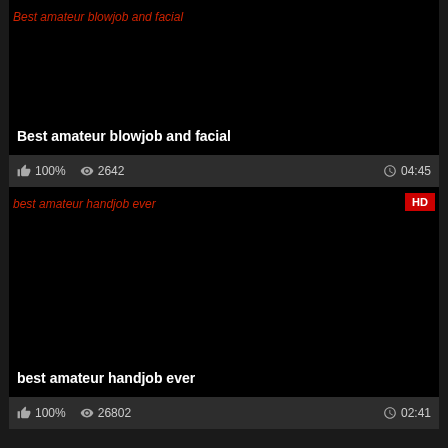[Figure (screenshot): Video thumbnail black screen for Best amateur blowjob and facial]
Best amateur blowjob and facial
100%  2642  04:45
[Figure (screenshot): Video thumbnail black screen with HD badge for best amateur handjob ever]
best amateur handjob ever
100%  26802  02:41